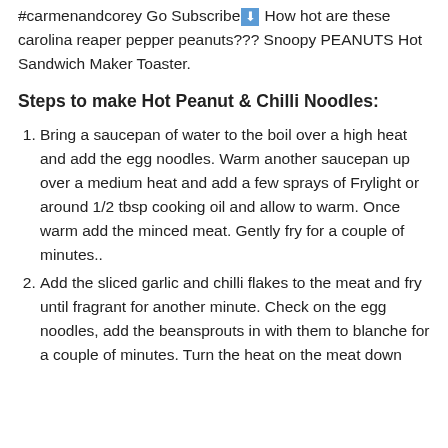#carmenandcorey Go Subscribe 🔽 How hot are these carolina reaper pepper peanuts??? Snoopy PEANUTS Hot Sandwich Maker Toaster.
Steps to make Hot Peanut & Chilli Noodles:
Bring a saucepan of water to the boil over a high heat and add the egg noodles. Warm another saucepan up over a medium heat and add a few sprays of Frylight or around 1/2 tbsp cooking oil and allow to warm. Once warm add the minced meat. Gently fry for a couple of minutes..
Add the sliced garlic and chilli flakes to the meat and fry until fragrant for another minute. Check on the egg noodles, add the beansprouts in with them to blanche for a couple of minutes. Turn the heat on the meat down